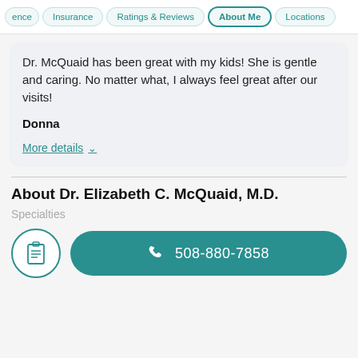ence | Insurance | Ratings & Reviews | About Me | Locations
Dr. McQuaid has been great with my kids! She is gentle and caring. No matter what, I always feel great after our visits!
Donna
More details ∨
About Dr. Elizabeth C. McQuaid, M.D.
Specialties
508-880-7858